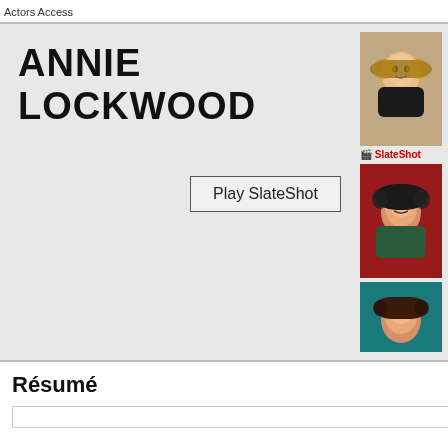Actors Access
ANNIE LOCKWOOD - NON-UNION
Play SlateShot
[Figure (photo): Headshot of Annie Lockwood smiling, blonde hair, black top, light background]
SlateShot
[Figure (photo): Headshot of Annie Lockwood, dark hair, teal jacket, dark red background]
[Figure (photo): Headshot of Annie Lockwood, glasses, teal background, partial view]
Résumé